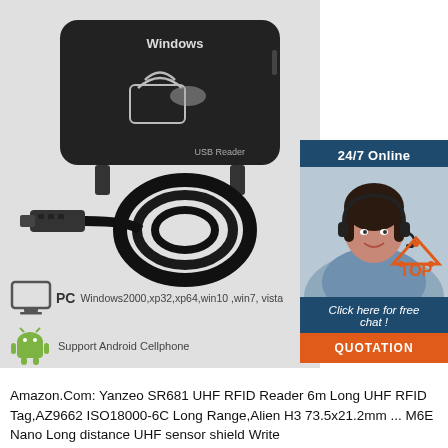[Figure (photo): Black USB RFID reader device with USB cable coiled, with Windows and USB Reader labels on device, on light gray background. Accompanied by a 24/7 Online chat widget on the right showing a female customer service agent with headset.]
PC  Windows2000,xp32,xp64,win10 ,win7, vista
Support Android Cellphone
Amazon.Com: Yanzeo SR681 UHF RFID Reader 6m Long UHF RFID Tag,AZ9662 ISO18000-6C Long Range,Alien H3 73.5x21.2mm ... M6E Nano Long distance UHF sensor shield Write